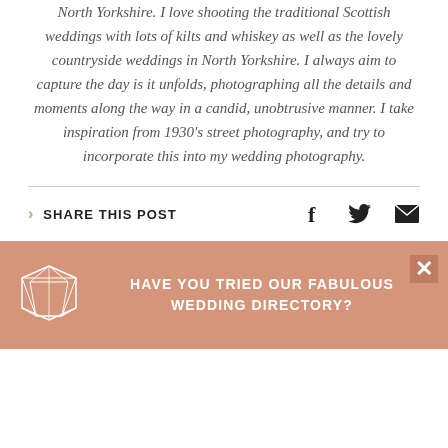North Yorkshire. I love shooting the traditional Scottish weddings with lots of kilts and whiskey as well as the lovely countryside weddings in North Yorkshire. I always aim to capture the day is it unfolds, photographing all the details and moments along the way in a candid, unobtrusive manner. I take inspiration from 1930's street photography, and try to incorporate this into my wedding photography.
SHARE THIS POST
HAVE YOU TRIED OUR FABULOUS WEDDING DIRECTORY?